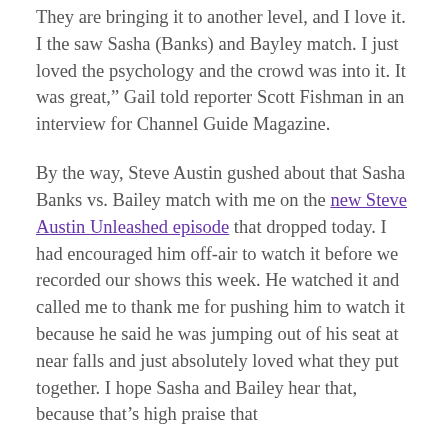They are bringing it to another level, and I love it. I the saw Sasha (Banks) and Bayley match. I just loved the psychology and the crowd was into it. It was great," Gail told reporter Scott Fishman in an interview for Channel Guide Magazine.
By the way, Steve Austin gushed about that Sasha Banks vs. Bailey match with me on the new Steve Austin Unleashed episode that dropped today. I had encouraged him off-air to watch it before we recorded our shows this week. He watched it and called me to thank me for pushing him to watch it because he said he was jumping out of his seat at near falls and just absolutely loved what they put together. I hope Sasha and Bailey hear that, because that's high praise that